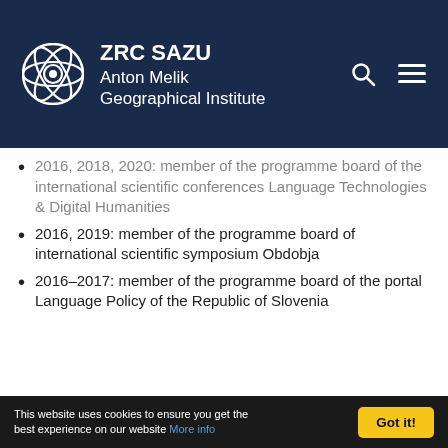[Figure (logo): ZRC SAZU Anton Melik Geographical Institute logo with header navigation]
2016, 2018, 2020: member of the programme board of the international scientific conferences Language Technologies & Digital Humanities
2016, 2019: member of the programme board of international scientific symposium Obdobja
2016–2017: member of the programme board of the portal Language Policy of the Republic of Slovenia
This website uses cookies to ensure you get the best experience on our website More info   Got it!